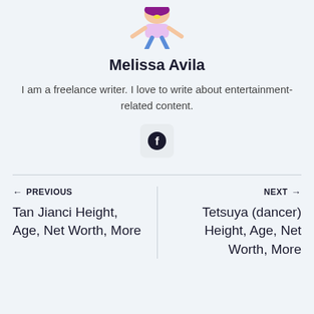[Figure (illustration): Cartoon avatar illustration of a person, partially cropped at top]
Melissa Avila
I am a freelance writer. I love to write about entertainment-related content.
[Figure (logo): Facebook social media icon in dark color inside a light rounded square box]
← PREVIOUS
Tan Jianci Height, Age, Net Worth, More
NEXT →
Tetsuya (dancer) Height, Age, Net Worth, More